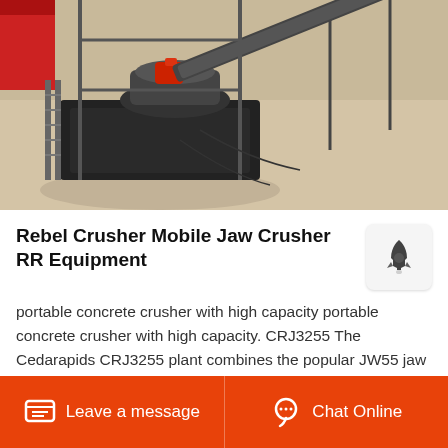[Figure (photo): Aerial/overhead view of a Rebel Crusher mobile jaw crusher machine on sandy ground, showing industrial machinery with red components, conveyor belt, and scaffolding structure.]
Rebel Crusher Mobile Jaw Crusher RR Equipment
portable concrete crusher with high capacity portable concrete crusher with high capacity. CRJ3255 The Cedarapids CRJ3255 plant combines the popular JW55 jaw crusher with a high stroke 52 x 20 1321 x 6096 mm vibrating grizzly feeder resulting in a high production
Leave a message  |  Chat Online